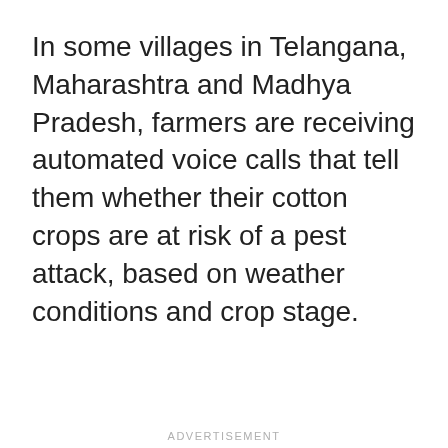In some villages in Telangana, Maharashtra and Madhya Pradesh, farmers are receiving automated voice calls that tell them whether their cotton crops are at risk of a pest attack, based on weather conditions and crop stage.
ADVERTISEMENT